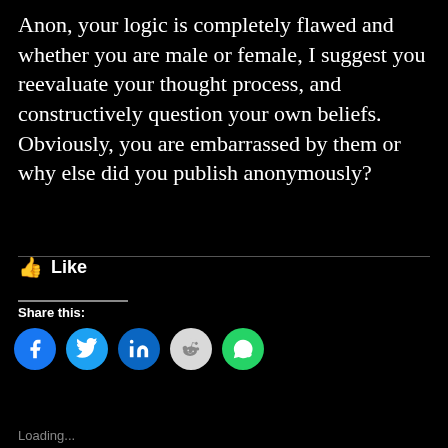Anon, your logic is completely flawed and whether you are male or female, I suggest you reevaluate your thought process, and constructively question your own beliefs. Obviously, you are embarrassed by them or why else did you publish anonymously?
[Figure (other): Like button with thumbs up icon]
Share this:
[Figure (other): Social share buttons: Facebook, Twitter, LinkedIn, Reddit, WhatsApp]
[Figure (other): Email share button (red pill shape) and edit/compose button (red circle)]
Loading...